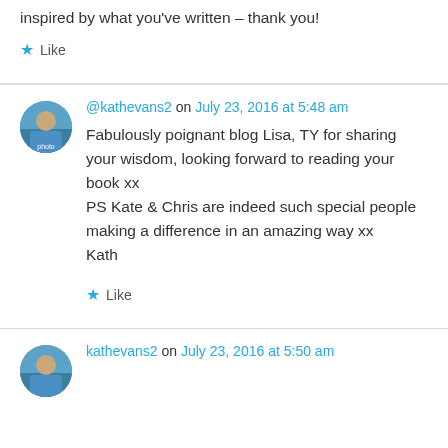inspired by what you've written – thank you!
★ Like
@kathevans2 on July 23, 2016 at 5:48 am
Fabulously poignant blog Lisa, TY for sharing your wisdom, looking forward to reading your book xx
PS Kate & Chris are indeed such special people making a difference in an amazing way xx
Kath
★ Like
kathevans2 on July 23, 2016 at 5:50 am